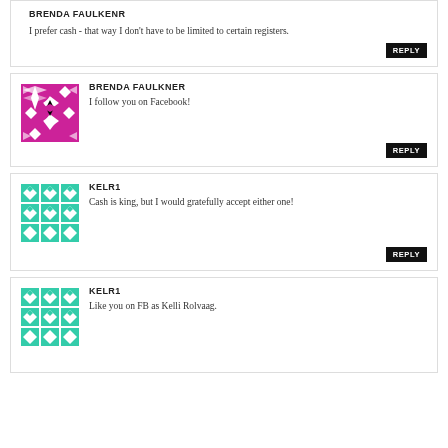BRENDA FAULKENR
I prefer cash - that way I don't have to be limited to certain registers.
[Figure (illustration): Magenta/pink geometric pattern avatar for Brenda Faulkner]
BRENDA FAULKNER
I follow you on Facebook!
[Figure (illustration): Teal/green geometric pattern avatar for KELR1]
KELR1
Cash is king, but I would gratefully accept either one!
[Figure (illustration): Teal/green geometric pattern avatar for KELR1]
KELR1
Like you on FB as Kelli Rolvaag.